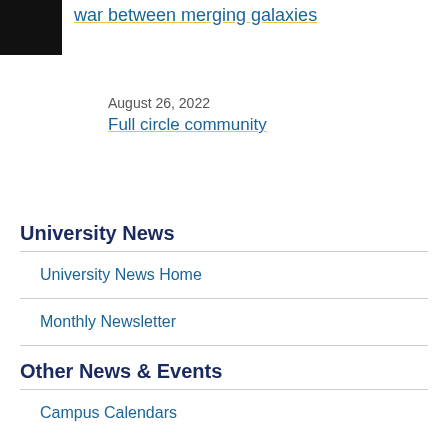[Figure (photo): Small dark/black thumbnail image of space or galaxy]
war between merging galaxies
August 26, 2022
Full circle community
University News
University News Home
Monthly Newsletter
Other News & Events
Campus Calendars